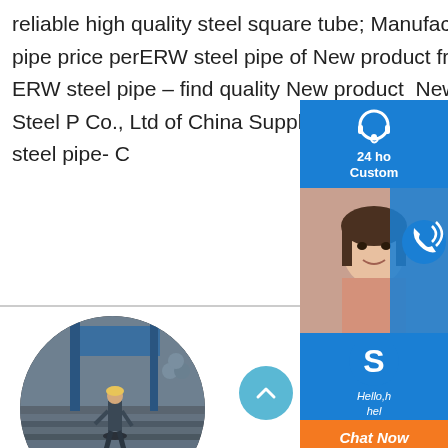reliable high quality steel square tube; Manufactory wholesale stainless steel pipe price perERW steel pipe of New product from China Suppliers - sp.infoQ ERW steel pipe - find quality New product New product from Cangzhou Wanji Steel P Co., Ltd of China Suppliers - 155008556.c product jisg 3466 88 square steel pipe- C
[Figure (photo): Circular photo of a worker in safety gear standing on stacked steel plates inside an industrial warehouse]
[Figure (screenshot): Chat support widget panel on the right side showing: 24 hour customer support icon, phone/call icon with a woman's photo, Skype icon with Hello/help text, and a Chat Now orange button]